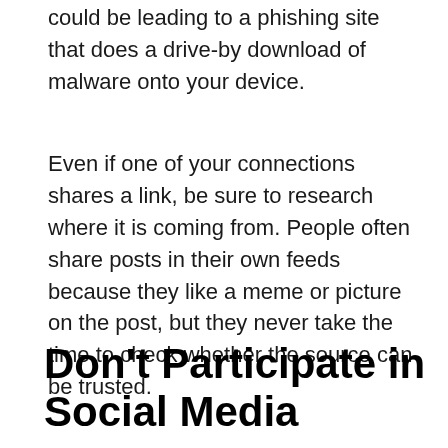could be leading to a phishing site that does a drive-by download of malware onto your device.
Even if one of your connections shares a link, be sure to research where it is coming from. People often share posts in their own feeds because they like a meme or picture on the post, but they never take the time to check whether the source can be trusted.
Don't Participate in Social Media